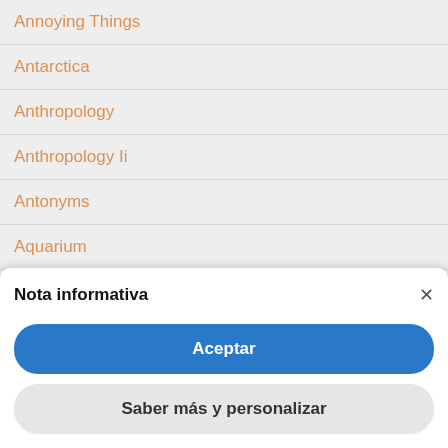Annoying Things
Antarctica
Anthropology
Anthropology Ii
Antonyms
Aquarium
Archaeology
Nota informativa
Aceptar
Saber más y personalizar